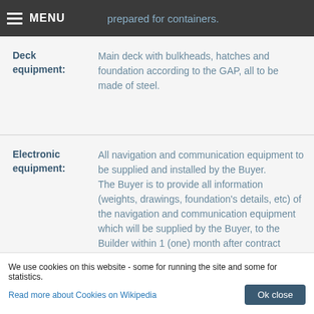MENU | prepared for containers.
| Field | Description |
| --- | --- |
| Deck equipment: | Main deck with bulkheads, hatches and foundation according to the GAP, all to be made of steel. |
| Electronic equipment: | All navigation and communication equipment to be supplied and installed by the Buyer.
The Buyer is to provide all information (weights, drawings, foundation's details, etc) of the navigation and communication equipment which will be supplied by the Buyer, to the Builder within 1 (one) month after contract |
We use cookies on this website - some for running the site and some for statistics. Read more about Cookies on Wikipedia  Ok close